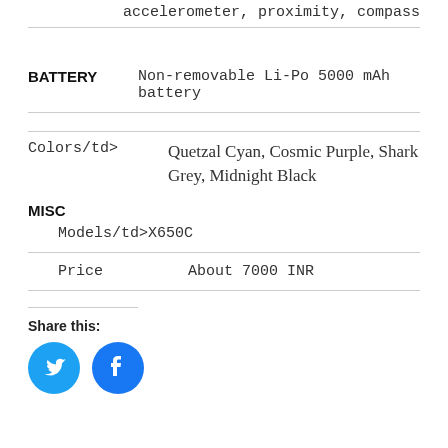accelerometer, proximity, compass
| BATTERY | Non-removable Li-Po 5000 mAh battery |
| Colors/td> | Quetzal Cyan, Cosmic Purple, Shark Grey, Midnight Black |
| MISC |  |
| Models/td> | X650C |
| Price | About 7000 INR |
Share this:
[Figure (illustration): Twitter and Facebook share icon buttons (blue circles with white bird and f logos)]